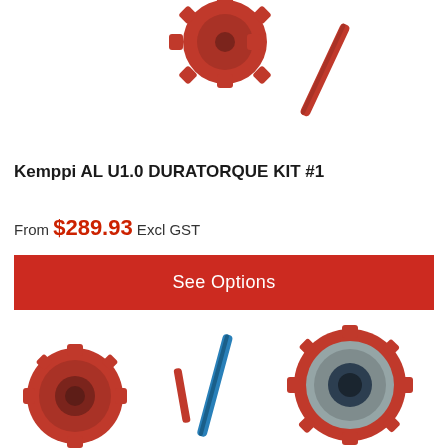[Figure (photo): Red aluminum welding wire feed roller gear and a red cylindrical rod/tube, partially cropped at top of page]
Kemppi AL U1.0 DURATORQUE KIT #1
From $289.93 Excl GST
See Options
[Figure (photo): Red aluminum welding wire feed roller components including two gears/rollers, a red cylindrical pin, and a blue cylindrical tube, partially cropped at bottom of page]